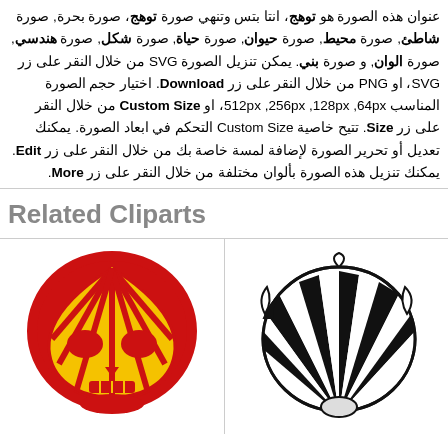عنوان هذه الصورة هو توهج، انتا بتس وتنهي صورة توهج، صورة بحرة صورة شاطئ، صورة محيط، صورة حيوان، صورة حياة, صورة شكل، صورة هندسي، صورة الوان، و صورة بني. يمكن تنزيل الصورة SVG من خلال النقر على زر SVG، او PNG من خلال النقر على زر Download. اختيار حجم الصورة المناسب 512px ,256px ,128px ,64px، او Custom Size من خلال النقر على زر Size. تتيح خاصية Custom Size التحكم في ابعاد الصورة. يمكنك تعديل أو تحرير الصورة لإضافة لمسة خاصة بك من خلال النقر على زر Edit. يمكنك تنزيل هذه الصورة بألوان مختلفة من خلال النقر على زر More.
Related Cliparts
[Figure (illustration): Shell oil company logo redesigned as a skull face — red and yellow shell-shaped skull clipart]
[Figure (illustration): Black and white striped seashell / scallop shell clipart illustration]